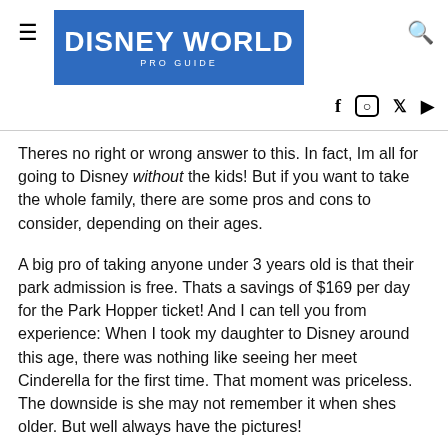DISNEY WORLD PRO GUIDE
Theres no right or wrong answer to this. In fact, Im all for going to Disney without the kids! But if you want to take the whole family, there are some pros and cons to consider, depending on their ages.
A big pro of taking anyone under 3 years old is that their park admission is free. Thats a savings of $169 per day for the Park Hopper ticket! And I can tell you from experience: When I took my daughter to Disney around this age, there was nothing like seeing her meet Cinderella for the first time. That moment was priceless. The downside is she may not remember it when shes older. But well always have the pictures!
I hear the sweet spot is between the ages of 6 and 10. At that